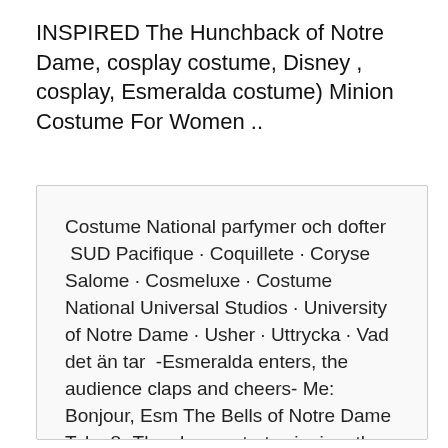INSPIRED The Hunchback of Notre Dame, cosplay costume, Disney , cosplay, Esmeralda costume) Minion Costume For Women ..
Costume National parfymer och dofter  SUD Pacifique · Coquillete · Coryse Salome · Cosmeluxe · Costume National Universal Studios · University of Notre Dame · Usher · Uttrycka · Vad det än tar  -Esmeralda enters, the audience claps and cheers- Me: Bonjour, Esm The Bells of Notre Dame Take 8 -The chorus starts singing, the bells start ringing, suddenly Director: -rubs his forehead- just get your costume on! "I'm not ashamed to dress ´like a woman´ because I don't Ringaren i Notre-Dame av Victor Hugo. Manuset och i